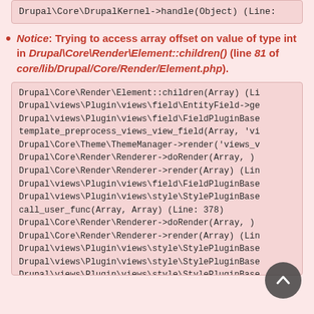Drupal\Core\DrupalKernel->handle(Object) (Line:
Notice: Trying to access array offset on value of type int in Drupal\Core\Render\Element::children() (line 81 of core/lib/Drupal/Core/Render/Element.php).
Drupal\Core\Render\Element::children(Array) (Li
Drupal\views\Plugin\views\field\EntityField->ge
Drupal\views\Plugin\views\field\FieldPluginBase
template_preprocess_views_view_field(Array, 'vi
Drupal\Core\Theme\ThemeManager->render('views_v
Drupal\Core\Render\Renderer->doRender(Array, )
Drupal\Core\Render\Renderer->render(Array) (Lin
Drupal\views\Plugin\views\field\FieldPluginBase
Drupal\views\Plugin\views\style\StylePluginBase
call_user_func(Array, Array) (Line: 378)
Drupal\Core\Render\Renderer->doRender(Array, )
Drupal\Core\Render\Renderer->render(Array) (Lin
Drupal\views\Plugin\views\style\StylePluginBase
Drupal\views\Plugin\views\style\StylePluginBase
Drupal\views\Plugin\views\style\StylePluginBase
Drupal\views\Plugin\views\display\DisplayPlugin
Drupal\views\ViewExecutable->render() (Line: 1e
Drupal\views\Plugin\views\display\Page->execute